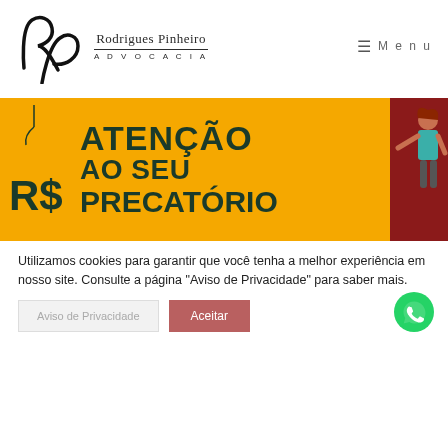Rodrigues Pinheiro Advocacia — Menu
[Figure (infographic): Banner com fundo amarelo com texto 'ATENÇÃO AO SEU PRECATÓRIO' em fonte bold escura, ícone de R$ e personagem feminina à direita]
Utilizamos cookies para garantir que você tenha a melhor experiência em nosso site. Consulte a página "Aviso de Privacidade" para saber mais.
Aviso de Privacidade | Aceitar